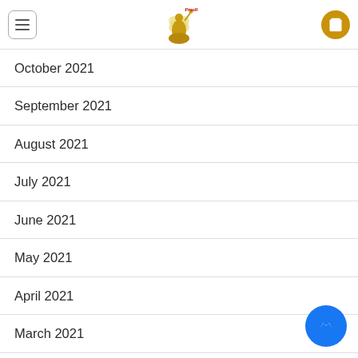Prudi dance fashion website header with menu, logo, and cart
October 2021
September 2021
August 2021
July 2021
June 2021
May 2021
April 2021
March 2021
February 2021
May 2019